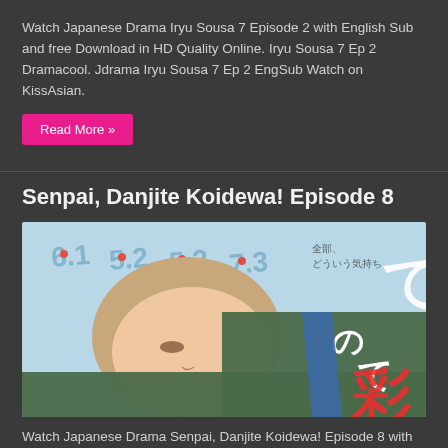Watch Japanese Drama Iryu Sousa 7 Episode 2 with English Sub and free Download in HD Quality Online. Iryu Sousa 7 Ep 2 Dramacool. Jdrama Iryu Sousa 7 Ep 2 EngSub Watch on KissAsian.
Read More »
Senpai, Danjite Koidewa! Episode 8
[Figure (photo): Photo of a young person with light brown hair lying sideways, wearing a dark green hoodie with Japanese text, with Japanese text/numbers visible in the background on a light blue surface.]
Watch Japanese Drama Senpai, Danjite Koidewa! Episode 8 with English Sub and free Download in HD Quality Online. Senpai, Danjite